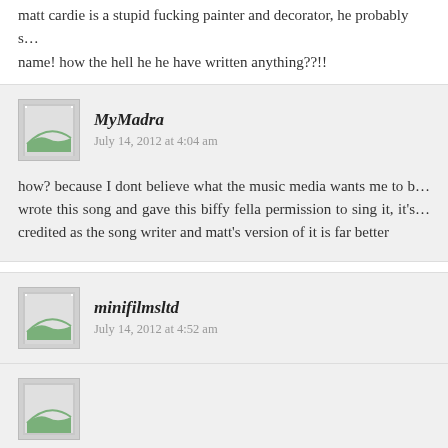matt cardie is a stupid fucking painter and decorator, he probably s… name! how the hell he he have written anything??!!
MyMadra
July 14, 2012 at 4:04 am
how? because I dont believe what the music media wants me to b… wrote this song and gave this biffy fella permission to sing it, it's… credited as the song writer and matt's version of it is far better
minifilmsltd
July 14, 2012 at 4:52 am
Fucking hell you're thick…